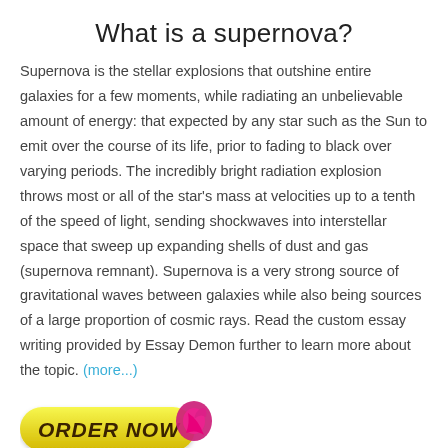What is a supernova?
Supernova is the stellar explosions that outshine entire galaxies for a few moments, while radiating an unbelievable amount of energy: that expected by any star such as the Sun to emit over the course of its life, prior to fading to black over varying periods. The incredibly bright radiation explosion throws most or all of the star's mass at velocities up to a tenth of the speed of light, sending shockwaves into interstellar space that sweep up expanding shells of dust and gas (supernova remnant). Supernova is a very strong source of gravitational waves between galaxies while also being sources of a large proportion of cosmic rays. Read the custom essay writing provided by Essay Demon further to learn more about the topic. (more...)
[Figure (illustration): Yellow rounded button with bold italic text 'ORDER NOW' and a pink/magenta arrow icon on the right side]